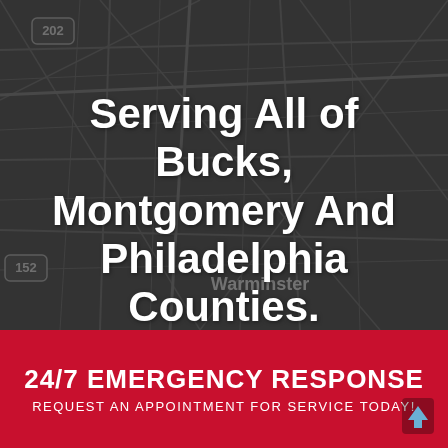[Figure (map): Dark road map background showing the Bucks, Montgomery and Philadelphia county area, with Warminster label visible and route badges (202, 152) on the map.]
Serving All of Bucks, Montgomery And Philadelphia Counties.
Warminster
24/7 EMERGENCY RESPONSE
REQUEST AN APPOINTMENT FOR SERVICE TODAY!